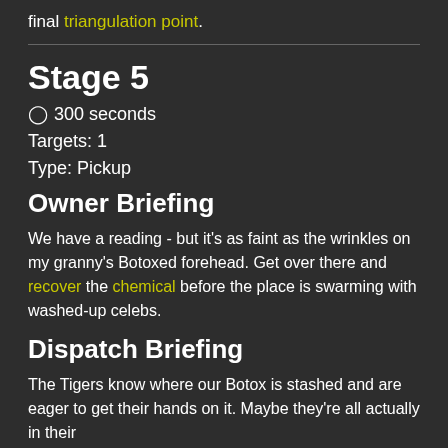final triangulation point.
Stage 5
⊙ 300 seconds
Targets: 1
Type: Pickup
Owner Briefing
We have a reading - but it's as faint as the wrinkles on my granny's Botoxed forehead. Get over there and recover the chemical before the place is swarming with washed-up celebs.
Dispatch Briefing
The Tigers know where our Botox is stashed and are eager to get their hands on it. Maybe they're all actually in their